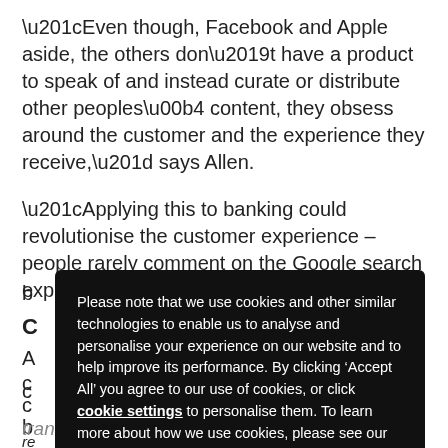“Even though, Facebook and Apple aside, the others don’t have a product to speak of and instead curate or distribute other peoples´ content, they obsess around the customer and the experience they receive,” says Allen.
“Applying this to banking could revolutionise the customer experience – people rarely comment on the Google search experience or Amazon range, as it has b[een so seamless.]
Please note that we use cookies and other similar technologies to enable us to analyse and personalise your experience on our website and to help improve its performance. By clicking ‘Accept All’ you agree to our use of cookies, or click cookie settings to personalise them. To learn more about how we use cookies, please see our cookie policy.
transparency as organisations evolve.